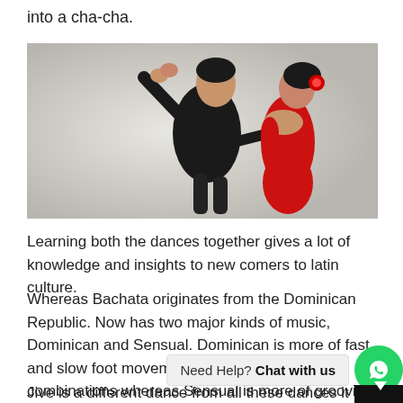into a cha-cha.
[Figure (photo): A couple dancing Latin dance. A man in a black shirt holds hands with a woman in a red dress with a red flower in her hair.]
Learning both the dances together gives a lot of knowledge and insights to new comers to latin culture.
Whereas Bachata originates from the Dominican Republic. Now has two major kinds of music, Dominican and Sensual. Dominican is more of fast and slow foot movements and different turning combinations whereas Sensual is more of grooving o
Jive is a different dance from all these dances it ori